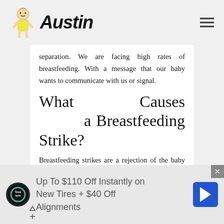Austin
separation. We are facing high rates of breastfeeding. With a message that our baby wants to communicate with us or signal.
What Causes a Breastfeeding Strike?
Breastfeeding strikes are a rejection of the baby that can spiritually endure the mother. In addition to the ongoing worry
[Figure (other): Advertisement banner: Up To $110 Off Instantly on New Tires + $40 Off Alignments, with Tire & Auto logo and navigation arrow icon]